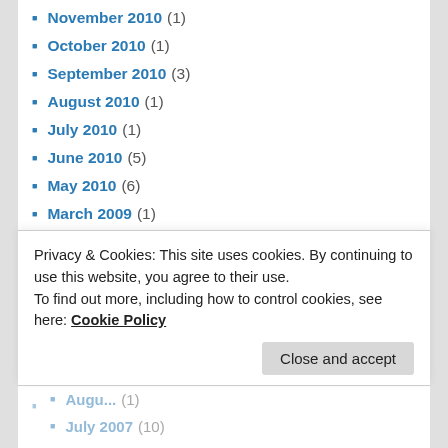November 2010 (1)
October 2010 (1)
September 2010 (3)
August 2010 (1)
July 2010 (1)
June 2010 (5)
May 2010 (6)
March 2009 (1)
January 2009 (2)
August 2008 (1)
July 2008 (2)
June 2008 (1)
April 2008 (1)
March 2008 (1)
Privacy & Cookies: This site uses cookies. By continuing to use this website, you agree to their use.
To find out more, including how to control cookies, see here: Cookie Policy
Close and accept